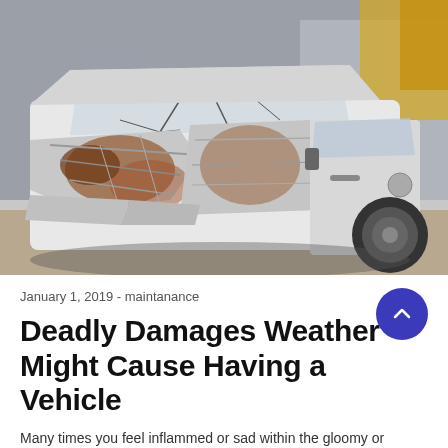[Figure (photo): A severely damaged white car with crumpled body panels, broken windshield, and heavily dented front and side sections after a major collision.]
January 1, 2019 - maintanance
Deadly Damages Weather Might Cause Having a Vehicle
Many times you feel inflammed or sad within the gloomy or